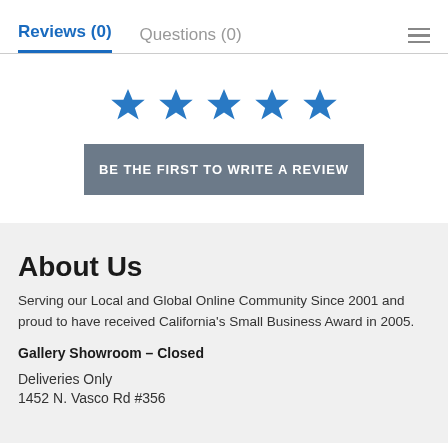Reviews (0)    Questions (0)
[Figure (illustration): Five blue star rating icons displayed in a row]
BE THE FIRST TO WRITE A REVIEW
About Us
Serving our Local and Global Online Community Since 2001 and proud to have received California's Small Business Award in 2005.
Gallery Showroom – Closed
Deliveries Only
1452 N. Vasco Rd #356